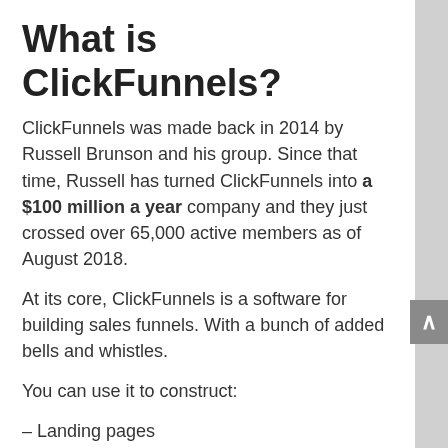What is ClickFunnels?
ClickFunnels was made back in 2014 by Russell Brunson and his group. Since that time, Russell has turned ClickFunnels into a $100 million a year company and they just crossed over 65,000 active members as of August 2018.
At its core, ClickFunnels is a software for building sales funnels. With a bunch of added bells and whistles.
You can use it to construct:
– Landing pages
– Squeeze pages